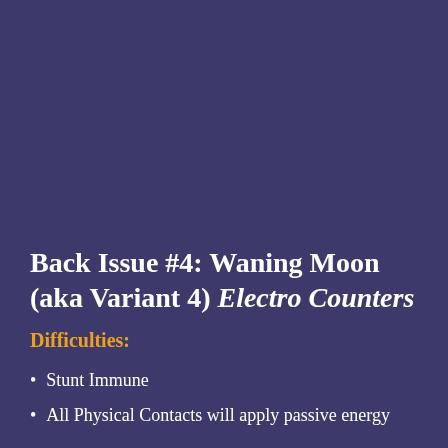Back Issue #4: Waning Moon (aka Variant 4) Electro Counters
Difficulties:
Stunt Immune
All Physical Contacts will apply passive energy damage to affected target, dealing 3,714 of damage